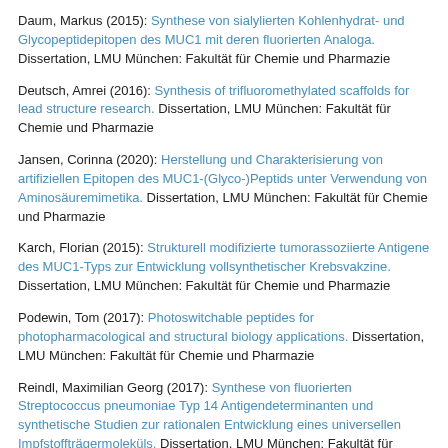Daum, Markus (2015): Synthese von sialylierten Kohlenhydrat- und Glycopeptidepitopen des MUC1 mit deren fluorierten Analoga. Dissertation, LMU München: Fakultät für Chemie und Pharmazie
Deutsch, Amrei (2016): Synthesis of trifluoromethylated scaffolds for lead structure research. Dissertation, LMU München: Fakultät für Chemie und Pharmazie
Jansen, Corinna (2020): Herstellung und Charakterisierung von artifiziellen Epitopen des MUC1-(Glyco-)Peptids unter Verwendung von Aminosäuremimetika. Dissertation, LMU München: Fakultät für Chemie und Pharmazie
Karch, Florian (2015): Strukturell modifizierte tumorassoziierte Antigene des MUC1-Typs zur Entwicklung vollsynthetischer Krebsvakzine. Dissertation, LMU München: Fakultät für Chemie und Pharmazie
Podewin, Tom (2017): Photoswitchable peptides for photopharmacological and structural biology applications. Dissertation, LMU München: Fakultät für Chemie und Pharmazie
Reindl, Maximilian Georg (2017): Synthese von fluorierten Streptococcus pneumoniae Typ 14 Antigendeterminanten und synthetische Studien zur rationalen Entwicklung eines universellen Impfstoffträgermoleküls. Dissertation, LMU München: Fakultät für Chemie und Pharmazie